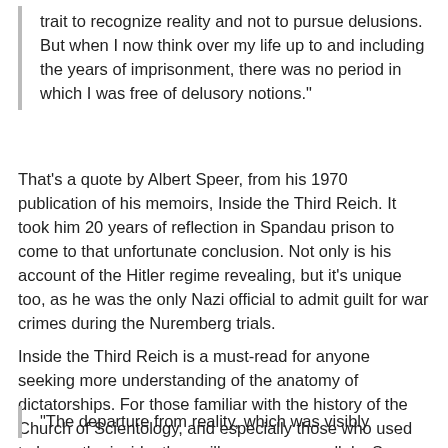trait to recognize reality and not to pursue delusions. But when I now think over my life up to and including the years of imprisonment, there was no period in which I was free of delusory notions."
That's a quote by Albert Speer, from his 1970 publication of his memoirs, Inside the Third Reich. It took him 20 years of reflection in Spandau prison to come to that unfortunate conclusion. Not only is his account of the Hitler regime revealing, but it's unique too, as he was the only Nazi official to admit guilt for war crimes during the Nuremberg trials.
Inside the Third Reich is a must-read for anyone seeking more understanding of the anatomy of dictatorships. For those familiar with the history of the Church of Scientology, and especially those who used to be on the inside, they will see many parallels. Speer provides us with some insight into the mindset of a totalitarian organization:
"The departure from reality, which was visibly